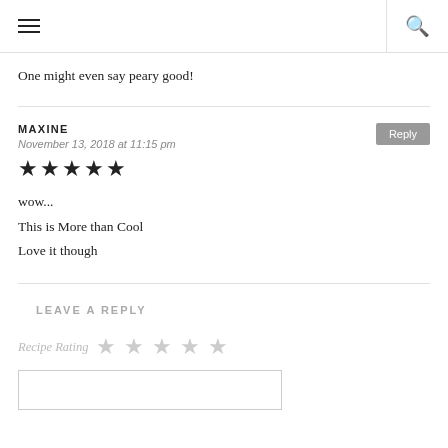One might even say peary good!
MAXINE
November 13, 2018 at 11:15 pm
★★★★★
wow...
This is More than Cool
Love it though
LEAVE A REPLY
Recipe Rating ☆☆☆☆☆